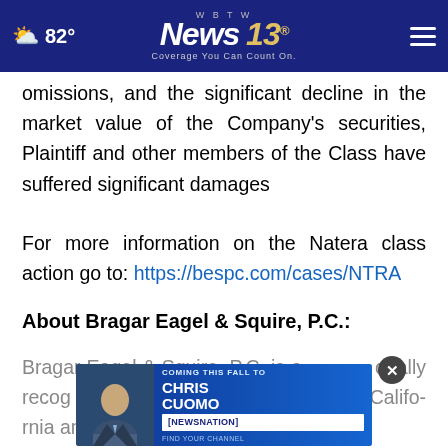82° | WBTW News 13 – Coverage You Can Count On.
omissions, and the significant decline in the market value of the Company's securities, Plaintiff and other members of the Class have suffered significant damages
For more information on the Natera class action go to: https://bespc.com/cases/NTRA
About Bragar Eagel & Squire, P.C.:
Bragar Eagel & Squire, P.C. is a nationally recognized … New York, California and South Carolina. The firm
[Figure (screenshot): Chris Cuomo – Coming This Fall to NewsNation advertisement banner with photo of Chris Cuomo]